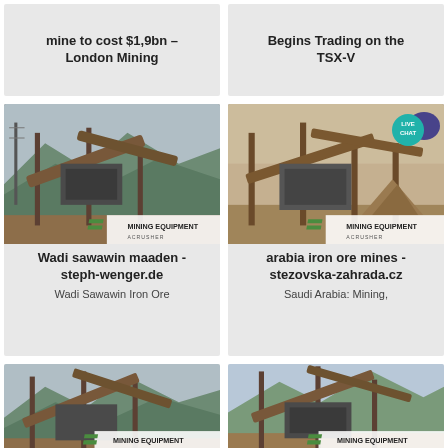mine to cost $1,9bn – London Mining
Begins Trading on the TSX-V
[Figure (photo): Industrial mining equipment/crusher facility with conveyor belts and metal structures, with MINING EQUIPMENT ACRUSHER watermark]
Wadi sawawin maaden - steph-wenger.de
Wadi Sawawin Iron Ore
[Figure (photo): Industrial mining equipment/crusher facility with conveyor belts, with MINING EQUIPMENT ACRUSHER watermark and LIVE CHAT bubble]
arabia iron ore mines - stezovska-zahrada.cz
Saudi Arabia: Mining,
[Figure (photo): Industrial mining equipment/crusher facility with conveyor belts and metal structures, bottom left card, MINING EQUIPMENT ACRUSHER watermark]
[Figure (photo): Industrial mining equipment/crusher facility with conveyor belts and metal structures, bottom right card, MINING EQUIPMENT ACRUSHER watermark]